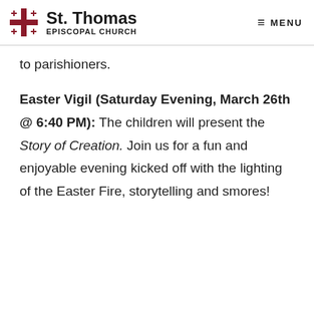St. Thomas Episcopal Church | MENU
to parishioners.
Easter Vigil (Saturday Evening, March 26th @ 6:40 PM): The children will present the Story of Creation. Join us for a fun and enjoyable evening kicked off with the lighting of the Easter Fire, storytelling and smores!